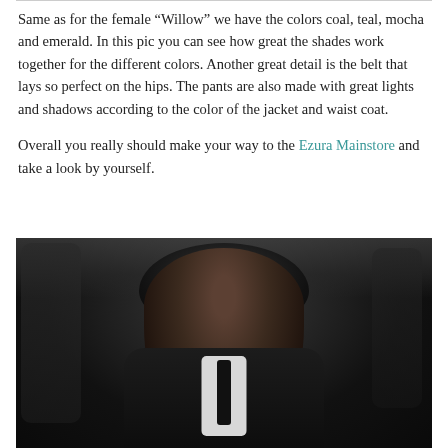Same as for the female “Willow” we have the colors coal, teal, mocha and emerald. In this pic you can see how great the shades work together for the different colors. Another great detail is the belt that lays so perfect on the hips. The pants are also made with great lights and shadows according to the color of the jacket and waist coat.
Overall you really should make your way to the Ezura Mainstore and take a look by yourself.
[Figure (photo): A dark, moody digital avatar photo of a male figure with black hair, wearing a black suit jacket with white shirt and black tie. The background is dark and atmospheric with decorative elements. The character appears to be from a virtual world (Second Life).]